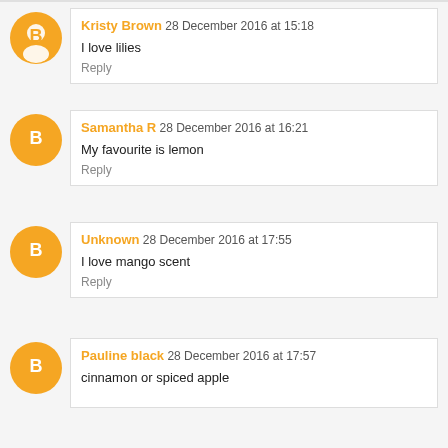Kristy Brown 28 December 2016 at 15:18 — I love lilies — Reply
Samantha R 28 December 2016 at 16:21 — My favourite is lemon — Reply
Unknown 28 December 2016 at 17:55 — I love mango scent — Reply
Pauline black 28 December 2016 at 17:57 — cinnamon or spiced apple